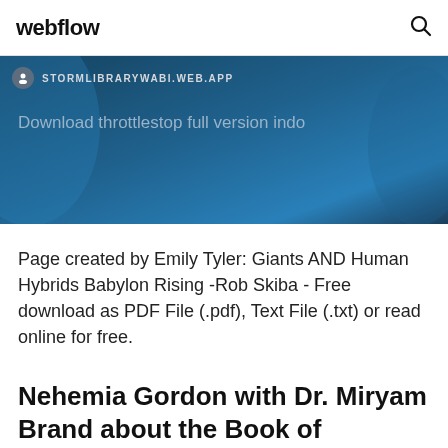webflow
[Figure (screenshot): Dark blue banner with URL bar showing STORMLIBRARYWABI.WEB.APP and text 'Download throttlestop full version indo']
Page created by Emily Tyler: Giants AND Human Hybrids Babylon Rising -Rob Skiba - Free download as PDF File (.pdf), Text File (.txt) or read online for free.
Nehemia Gordon with Dr. Miryam Brand about the Book of